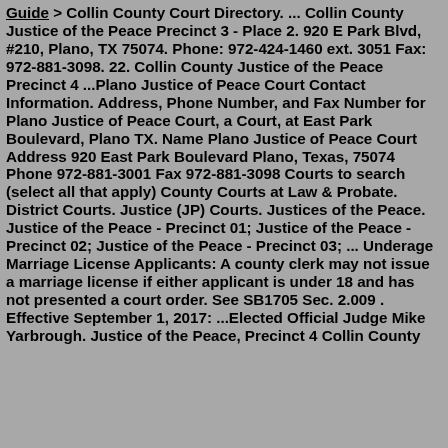Guide > Collin County Court Directory. ... Collin County Justice of the Peace Precinct 3 - Place 2. 920 E Park Blvd, #210, Plano, TX 75074. Phone: 972-424-1460 ext. 3051 Fax: 972-881-3098. 22. Collin County Justice of the Peace Precinct 4 ...Plano Justice of Peace Court Contact Information. Address, Phone Number, and Fax Number for Plano Justice of Peace Court, a Court, at East Park Boulevard, Plano TX. Name Plano Justice of Peace Court Address 920 East Park Boulevard Plano, Texas, 75074 Phone 972-881-3001 Fax 972-881-3098 Courts to search (select all that apply) County Courts at Law & Probate. District Courts. Justice (JP) Courts. Justices of the Peace. Justice of the Peace - Precinct 01; Justice of the Peace - Precinct 02; Justice of the Peace - Precinct 03; ... Underage Marriage License Applicants: A county clerk may not issue a marriage license if either applicant is under 18 and has not presented a court order. See SB1705 Sec. 2.009 . Effective September 1, 2017: ...Elected Official Judge Mike Yarbrough. Justice of the Peace, Precinct 4 Collin County